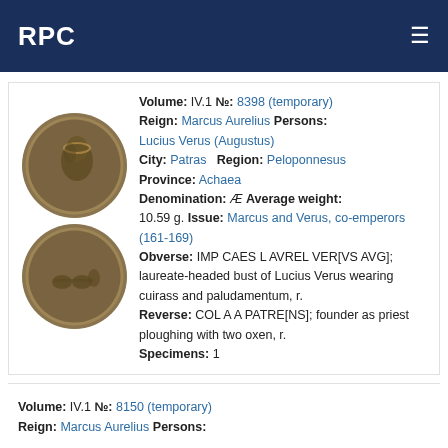RPC
Volume: IV.1 №: 8398 (temporary)
Reign: Marcus Aurelius  Persons: Lucius Verus (Augustus)
City: Patras   Region: Peloponnesus
Province: Achaea
Denomination: Æ  Average weight: 10.59 g.  Issue: Marcus and Verus, co-emperors (161-169)
Obverse: IMP CAES L AVREL VER[VS AVG]; laureate-headed bust of Lucius Verus wearing cuirass and paludamentum, r.
Reverse: COL A A PATRE[NS]; founder as priest ploughing with two oxen, r.
Specimens: 1
[Figure (photo): Two ancient Roman bronze coins showing obverse (portrait of Lucius Verus) and reverse (founder as priest ploughing with two oxen)]
Volume: IV.1 №: 8150 (temporary)
Reign: Marcus Aurelius  Persons: